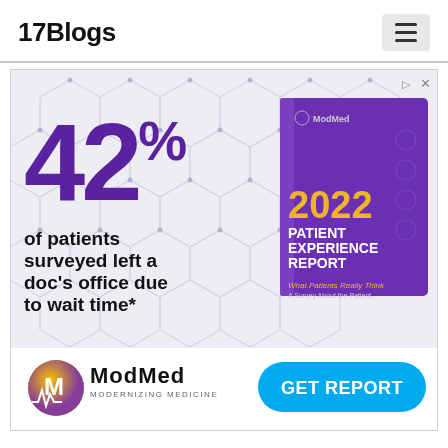17Blogs
[Figure (infographic): ModMed advertisement: '42% of patients surveyed left a doc's office due to wait time*' with a 2022 Patient Experience Report book cover, ModMed logo, and GET REPORT button]